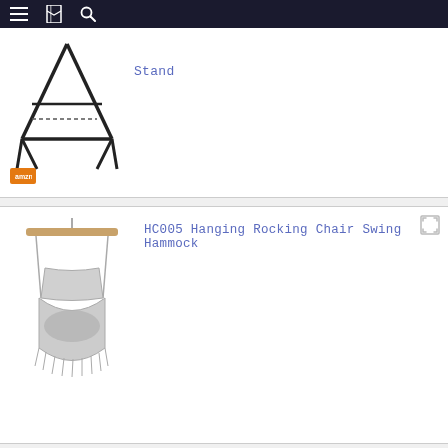Navigation bar with menu, bookmarks, and search icons
[Figure (photo): Product image of a hammock stand frame (black metal), partially cropped at top. An orange Amazon badge is visible at the bottom left.]
Stand
[Figure (photo): Product image of HC005 Hanging Rocking Chair Swing Hammock - a hanging fabric chair with wooden bar and cushion/fringe.]
HC005 Hanging Rocking Chair Swing Hammock
Related Blog  Related Videos  Reviews
8 Best Hammocks for Camping, Reading or Leisure - Adorabl...
At Cosmo, we love anything that brings you closer to your personal nirvana—whether it's a cozy sheet set or some soothing scented candles.Honestly, nobody really talks about this, but letR...
Pillow Fight! How To Pick The Right Camping Pillow
When you're backpacking across an entirely foreign land, having a camping pillow is really important because it will not only offer yo